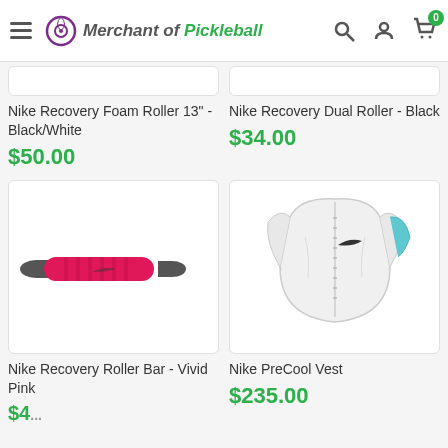Merchant of Pickleball
Nike Recovery Foam Roller 13" - Black/White
$50.00
Nike Recovery Dual Roller - Black
$34.00
[Figure (photo): Nike Recovery Roller Bar - Vivid Pink, a pink and gray roller bar product image]
[Figure (photo): Nike PreCool Vest, a white vest with Nike swoosh and teal accents]
Nike Recovery Roller Bar - Vivid Pink
Nike PreCool Vest
$235.00